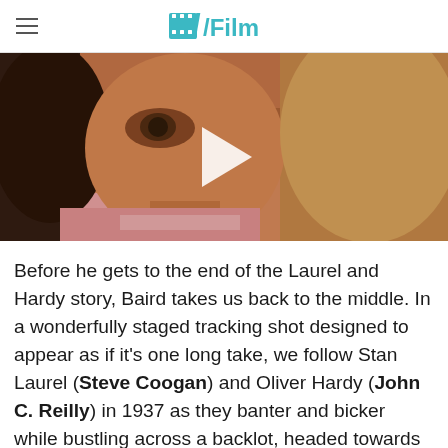/Film
[Figure (photo): Close-up of a young girl's face with brown eyes and light brown/blonde hair, serving as a video thumbnail with a white play button triangle in the center.]
Before he gets to the end of the Laurel and Hardy story, Baird takes us back to the middle. In a wonderfully staged tracking shot designed to appear as if it's one long take, we follow Stan Laurel (Steve Coogan) and Oliver Hardy (John C. Reilly) in 1937 as they banter and bicker while bustling across a backlot, headed towards Hal Roach Studios. The duo are at the height of their careers, but it's all